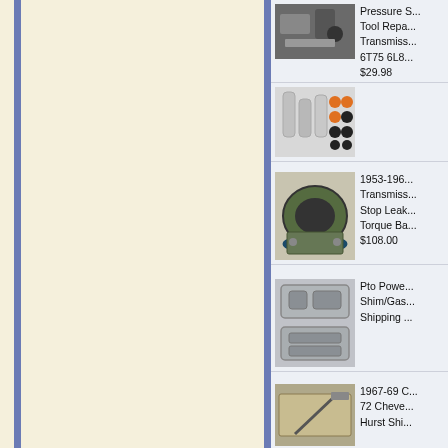[Figure (photo): Left panel: cream/beige textured background with blue vertical border stripe on left edge]
[Figure (photo): Product photo: mechanic tools/parts close-up]
Pressure S... Tool Repa... Transmiss... 6T75 6L8... $29.98
[Figure (photo): Product photo: silver cylindrical parts with orange and black seals/o-rings]
[Figure (photo): Product photo: green metal transmission seal ring assembly]
1953-196... Transmiss... Stop Leak... Torque Ba... $108.00
[Figure (photo): Product photo: metal gasket/shim plates]
Pto Powe... Shim/Gas... Shipping ...
[Figure (photo): Product photo: flat brown/tan shifter plate or gasket]
1967-69 C... 72 Cheve... Hurst Shi...